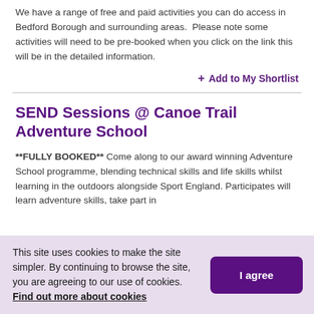We have a range of free and paid activities you can do access in Bedford Borough and surrounding areas.  Please note some activities will need to be pre-booked when you click on the link this will be in the detailed information.
+ Add to My Shortlist
SEND Sessions @ Canoe Trail Adventure School
**FULLY BOOKED** Come along to our award winning Adventure School programme, blending technical skills and life skills whilst learning in the outdoors alongside Sport England. Participates will learn adventure skills, take part in
This site uses cookies to make the site simpler. By continuing to browse the site, you are agreeing to our use of cookies. Find out more about cookies